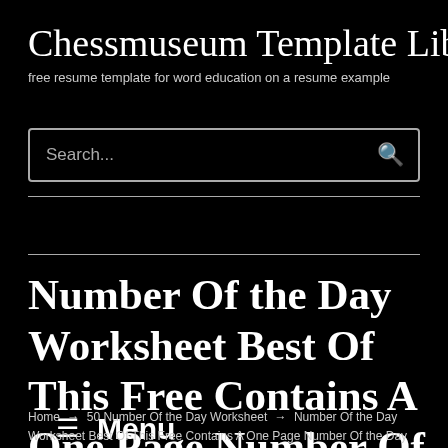Chessmuseum Template Libra…
free resume template for word education on a resume example
Search...
≡ Menu
Number Of the Day Worksheet Best Of This Free Contains A One Page Number Of the Day
Home → 50 Number Of the Day Worksheet → Number Of the Day Worksheet Best Of This Free Contains A One Page Number Of the Day